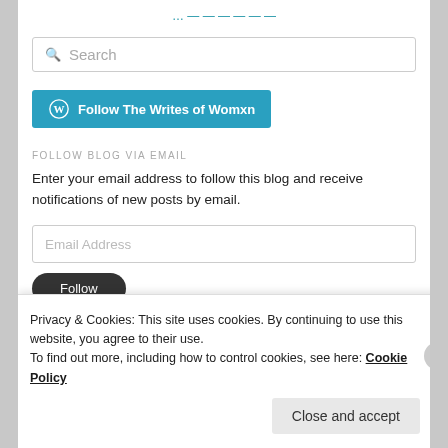... (partially visible link text in teal)
[Figure (screenshot): Search input box with magnifying glass icon and placeholder text 'Search']
[Figure (screenshot): Follow The Writes of Womxn button in teal/blue with WordPress icon]
FOLLOW BLOG VIA EMAIL
Enter your email address to follow this blog and receive notifications of new posts by email.
[Figure (screenshot): Email Address input field]
[Figure (screenshot): Dark rounded follow button (partially visible)]
Privacy & Cookies: This site uses cookies. By continuing to use this website, you agree to their use.
To find out more, including how to control cookies, see here: Cookie Policy
Close and accept